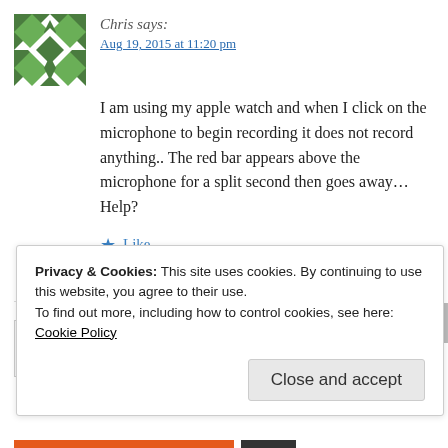[Figure (illustration): Green quilt-pattern avatar icon for user Chris]
Chris says:
Aug 19, 2015 at 11:20 pm
I am using my apple watch and when I click on the microphone to begin recording it does not record anything.. The red bar appears above the microphone for a split second then goes away… Help?
Like
REPLY
[Figure (illustration): Broken image placeholder for Alan Baxter avatar]
Alan Baxter (@AlanBaxter15) says:
Sep 16, 2015 at 10:03 pm
Privacy & Cookies: This site uses cookies. By continuing to use this website, you agree to their use.
To find out more, including how to control cookies, see here: Cookie Policy
Close and accept